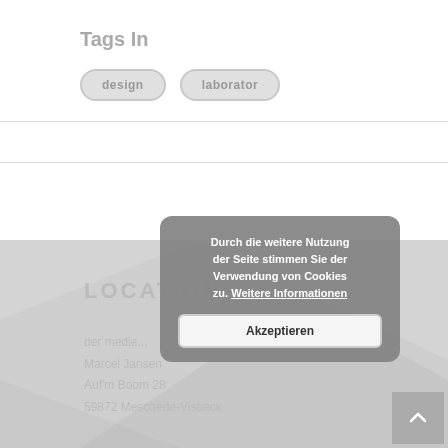Tags In
design
laborator
LOCATION
der medie...
Marcel Jansen
Auf'm Boom 28
59872 Meschede-Visbeck
Durch die weitere Nutzung der Seite stimmen Sie der Verwendung von Cookies zu. Weitere Informationen
Akzeptieren